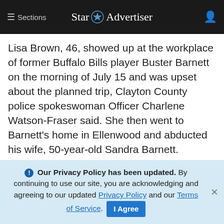≡ Sections  Star Advertiser
Lisa Brown, 46, showed up at the workplace of former Buffalo Bills player Buster Barnett on the morning of July 15 and was upset about the planned trip, Clayton County police spokeswoman Officer Charlene Watson-Fraser said. She then went to Barnett's home in Ellenwood and abducted his wife, 50-year-old Sandra Barnett.
Ruby Chester, a longtime friend of Sandra Barnett, said she was on the phone with her about 11:20 a.m. on July 15 when someone knocked on
ⓘ Our Privacy Policy has been updated. By continuing to use our site, you are acknowledging and agreeing to our updated Privacy Policy and our Terms of Service. I Agree